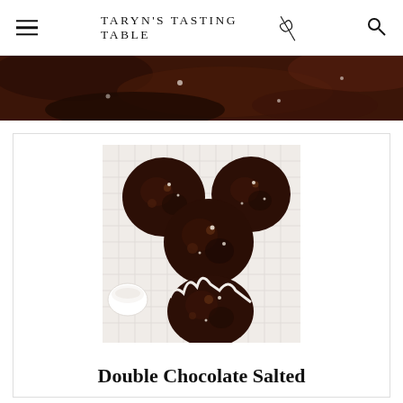TARYN'S TASTING TABLE
[Figure (photo): Partial top view of dark chocolate cookies or bark on a white surface]
[Figure (photo): Overhead view of double chocolate salted cookies on a white wire cooling rack with a small bowl of salt]
Double Chocolate Salted